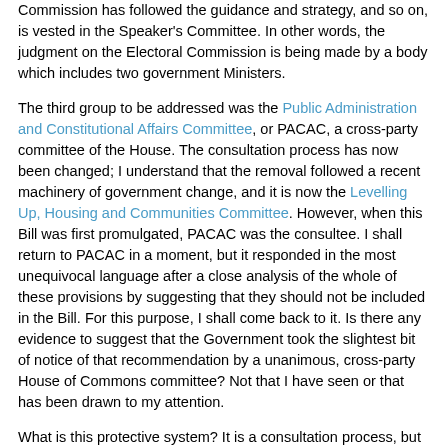Commission has followed the guidance and strategy, and so on, is vested in the Speaker's Committee. In other words, the judgment on the Electoral Commission is being made by a body which includes two government Ministers.
The third group to be addressed was the Public Administration and Constitutional Affairs Committee, or PACAC, a cross-party committee of the House. The consultation process has now been changed; I understand that the removal followed a recent machinery of government change, and it is now the Levelling Up, Housing and Communities Committee. However, when this Bill was first promulgated, PACAC was the consultee. I shall return to PACAC in a moment, but it responded in the most unequivocal language after a close analysis of the whole of these provisions by suggesting that they should not be included in the Bill. For this purpose, I shall come back to it. Is there any evidence to suggest that the Government took the slightest bit of notice of that recommendation by a unanimous, cross-party House of Commons committee? Not that I have seen or that has been drawn to my attention.
What is this protective system? It is a consultation process, but there is nothing in statute requiring the Secretary of State to pay attention. No doubt they will be read; no doubt somebody will read them to the Minister and he will discuss them, but there is absolutely nothing in the